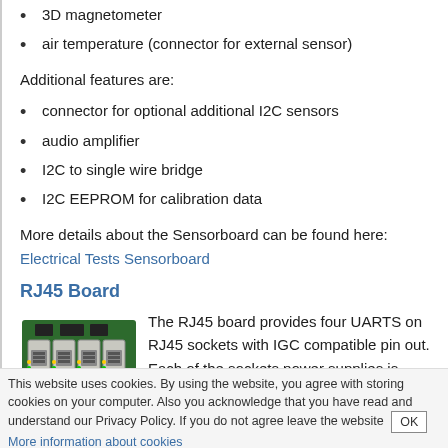3D magnetometer
air temperature (connector for external sensor)
Additional features are:
connector for optional additional I2C sensors
audio amplifier
I2C to single wire bridge
I2C EEPROM for calibration data
More details about the Sensorboard can be found here: Electrical Tests Sensorboard
RJ45 Board
[Figure (photo): Photo of RJ45 board showing four RJ45 sockets]
The RJ45 board provides four UARTS on RJ45 sockets with IGC compatible pin out. Each of the sockets power supplies is protected by an individual, self resetting fuse. More details about the RJ45-Board can be found here: Electrical Tests RJ45-Board
Go to Software-Overview.
This website uses cookies. By using the website, you agree with storing cookies on your computer. Also you acknowledge that you have read and understand our Privacy Policy. If you do not agree leave the website OK More information about cookies